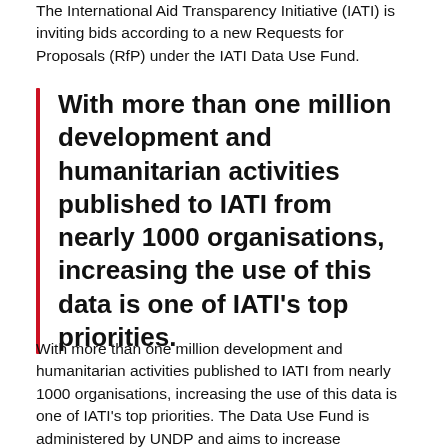The International Aid Transparency Initiative (IATI) is inviting bids according to a new Requests for Proposals (RfP) under the IATI Data Use Fund.
With more than one million development and humanitarian activities published to IATI from nearly 1000 organisations, increasing the use of this data is one of IATI's top priorities.
With more than one million development and humanitarian activities published to IATI from nearly 1000 organisations, increasing the use of this data is one of IATI's top priorities. The Data Use Fund is administered by UNDP and aims to increase